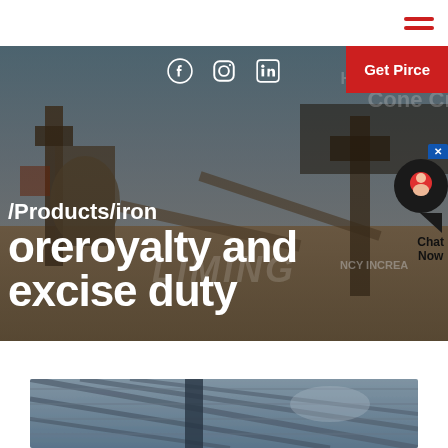hamburger menu icon
[Figure (photo): Industrial mining/crushing plant facility with cone crusher equipment, conveyor belts, and overhead structures under a blue sky. Overlaid with social media icons (Facebook, Instagram, LinkedIn), a red 'Get Pirce' button, and a chat widget.]
/Products/iron oreroyalty and excise duty
[Figure (photo): Interior of an industrial building showing structural steel beams and roof trusses, partially visible at the bottom of the page.]